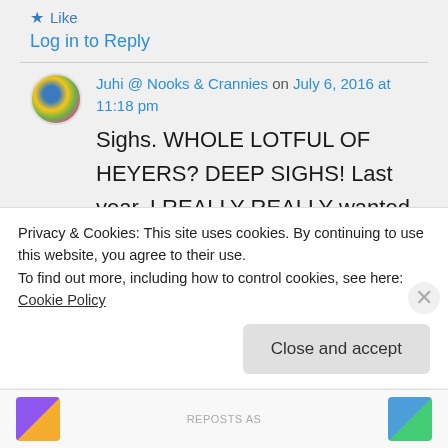Like
Log in to Reply
Juhi @ Nooks & Crannies on July 6, 2016 at 11:18 pm
Sighs. WHOLE LOTFUL OF HEYERS? DEEP SIGHS! Last year, I REALLY REALLY wanted to buy as many Heyers as I could. Someone must have heard my wish
Privacy & Cookies: This site uses cookies. By continuing to use this website, you agree to their use.
To find out more, including how to control cookies, see here: Cookie Policy
Close and accept